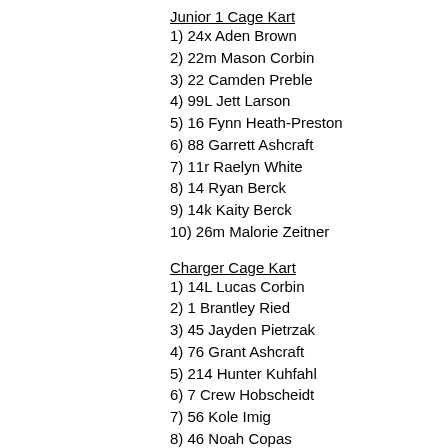Junior 1 Cage Kart
1) 24x Aden Brown
2) 22m Mason Corbin
3) 22 Camden Preble
4) 99L Jett Larson
5) 16 Fynn Heath-Preston
6) 88 Garrett Ashcraft
7) 11r Raelyn White
8) 14 Ryan Berck
9) 14k Kaity Berck
10) 26m Malorie Zeitner
Charger Cage Kart
1) 14L Lucas Corbin
2) 1 Brantley Ried
3) 45 Jayden Pietrzak
4) 76 Grant Ashcraft
5) 214 Hunter Kuhfahl
6) 7 Crew Hobscheidt
7) 56 Kole Imig
8) 46 Noah Copas
9) 12e Lily Elwood
Rookie Cage Kart
1) 91 Barrett Gullion
2) 16 Clay Hobscheidt
3) 23 Noah Harder
4) 711 Hudson Kuhfahl
5) 35 Damon Krichau